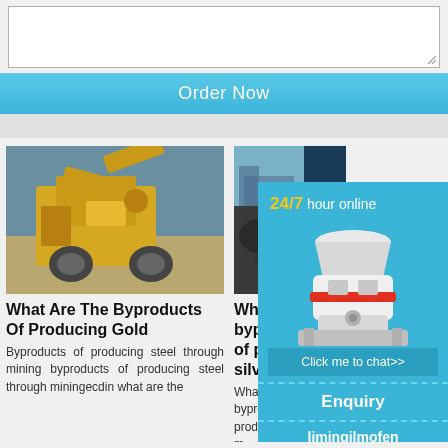[Figure (other): Text input area / form field with resize handle]
Order Now
[Figure (photo): Mining machine - yellow heavy equipment outdoors]
What Are The Byproducts Of Producing Gold
Byproducts of producing steel through mining byproducts of producing steel through miningecdin what are the
[Figure (photo): Mining/industrial scene - partially visible]
What are byproducts of producing silver ...
What are byproducts of producing through m
[Figure (other): 24/7 hour online chat overlay widget with cone crusher machine image, Click me to chat>> button, Enquiry section, limingjlmofen text]
[Figure (photo): Outdoor machinery/equipment photo bottom left]
[Figure (photo): Outdoor construction/mining photo bottom right]